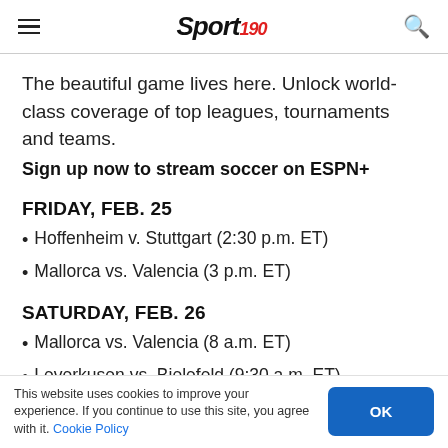Sport 190 [logo]
The beautiful game lives here. Unlock world-class coverage of top leagues, tournaments and teams.
Sign up now to stream soccer on ESPN+
FRIDAY, FEB. 25
Hoffenheim v. Stuttgart (2:30 p.m. ET)
Mallorca vs. Valencia (3 p.m. ET)
SATURDAY, FEB. 26
Mallorca vs. Valencia (8 a.m. ET)
Leverkusen vs. Bielefeld (9:30 a.m. ET)
This website uses cookies to improve your experience. If you continue to use this site, you agree with it. Cookie Policy